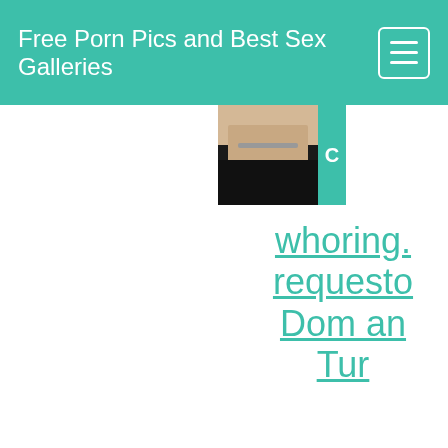Free Porn Pics and Best Sex Galleries
[Figure (photo): Thumbnail image showing a person's torso in dark clothing, partially cropped]
whoring... requested... Dom an... Tur...